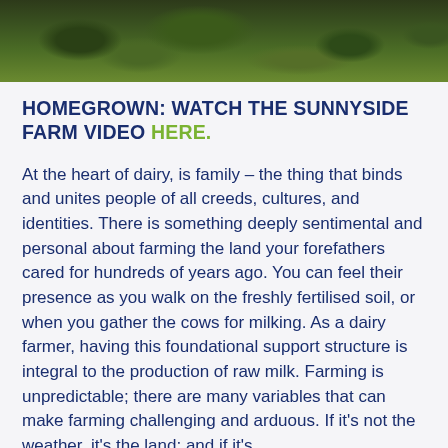[Figure (photo): A green grassy farm landscape photographed from above, showing lush vegetation and field terrain.]
HOMEGROWN: WATCH THE SUNNYSIDE FARM VIDEO HERE.
At the heart of dairy, is family – the thing that binds and unites people of all creeds, cultures, and identities. There is something deeply sentimental and personal about farming the land your forefathers cared for hundreds of years ago. You can feel their presence as you walk on the freshly fertilised soil, or when you gather the cows for milking. As a dairy farmer, having this foundational support structure is integral to the production of raw milk. Farming is unpredictable; there are many variables that can make farming challenging and arduous. If it's not the weather, it's the land; and if it's